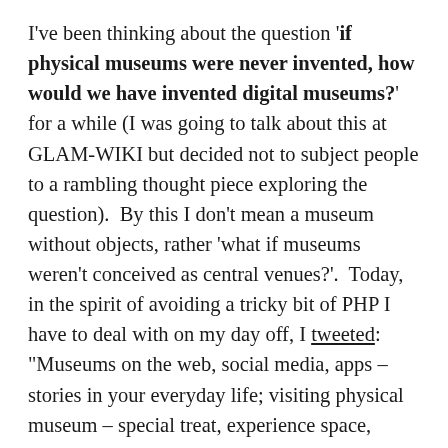I've been thinking about the question 'if physical museums were never invented, how would we have invented digital museums?' for a while (I was going to talk about this at GLAM-WIKI but decided not to subject people to a rambling thought piece exploring the question).  By this I don't mean a museum without objects, rather 'what if museums weren't conceived as central venues?'.  Today, in the spirit of avoiding a tricky bit of PHP I have to deal with on my day off, I tweeted: "Museums on the web, social media, apps – stories in your everyday life; visiting physical museum – special treat, experience space, objects?".  By understanding how the physical museum has shaped our thinking, can we come up with models that make the most of the strengths, and minimise the weaknesses, of digital and physical museums? How and where can people experience museum collections, objects, stories,